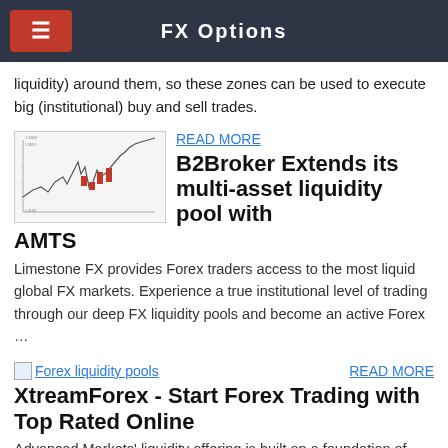FX Options
liquidity) around them, so these zones can be used to execute big (institutional) buy and sell trades.
[Figure (other): A financial chart showing price movements with red markers indicating key levels]
READ MORE
B2Broker Extends its multi-asset liquidity pool with AMTS
Limestone FX provides Forex traders access to the most liquid global FX markets. Experience a true institutional level of trading through our deep FX liquidity pools and become an active Forex …
[Figure (illustration): Forex liquidity pools image placeholder]
READ MORE
XtreamForex - Start Forex Trading with Top Rated Online
Advanced Markets' liquidity offering is built on a foundation of reliability and transparency. Whilst recognizing the need for tight